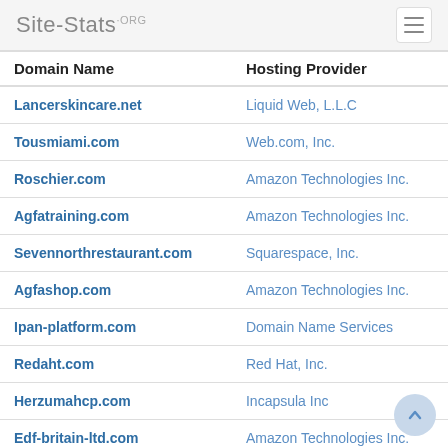Site-Stats.ORG
| Domain Name | Hosting Provider |
| --- | --- |
| Lancerskincare.net | Liquid Web, L.L.C |
| Tousmiami.com | Web.com, Inc. |
| Roschier.com | Amazon Technologies Inc. |
| Agfatraining.com | Amazon Technologies Inc. |
| Sevennorthrestaurant.com | Squarespace, Inc. |
| Agfashop.com | Amazon Technologies Inc. |
| Ipan-platform.com | Domain Name Services |
| Redaht.com | Red Hat, Inc. |
| Herzumahcp.com | Incapsula Inc |
| Edf-britain-ltd.com | Amazon Technologies Inc. |